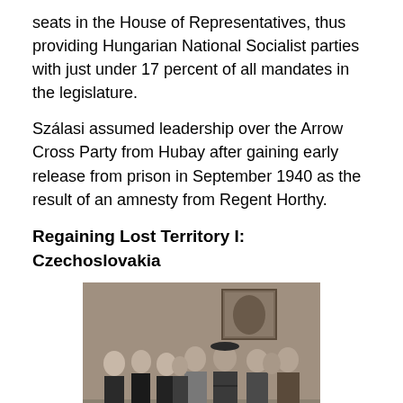seats in the House of Representatives, thus providing Hungarian National Socialist parties with just under 17 percent of all mandates in the legislature.
Szálasi assumed leadership over the Arrow Cross Party from Hubay after gaining early release from prison in September 1940 as the result of an amnesty from Regent Horthy.
Regaining Lost Territory I: Czechoslovakia
[Figure (photo): Black and white historical photograph showing a group of men in formal suits and military uniforms standing together in an ornate room with a painting visible on the wall in the background.]